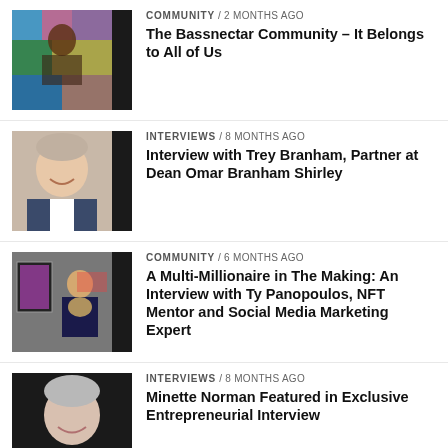[Figure (photo): Colorful community/festival image with dark stripe on right]
COMMUNITY / 2 months ago
The Bassnectar Community – It Belongs to All of Us
[Figure (photo): Portrait of smiling middle-aged man in suit with dark stripe on right]
INTERVIEWS / 8 months ago
Interview with Trey Branham, Partner at Dean Omar Branham Shirley
[Figure (photo): Person holding colorful artwork in gallery with dark stripe on right]
COMMUNITY / 6 months ago
A Multi-Millionaire in The Making: An Interview with Ty Panopoulos, NFT Mentor and Social Media Marketing Expert
[Figure (photo): Portrait of older woman with short gray hair smiling, dark background]
INTERVIEWS / 8 months ago
Minette Norman Featured in Exclusive Entrepreneurial Interview
ENTREPRENEURSHIP / 9 months ago
600% In Under 5 Years, Financial Advisor Sees Business Re-Reinvention...